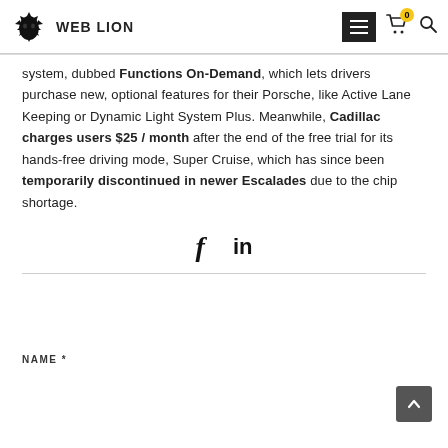WEB LION
system, dubbed Functions On-Demand, which lets drivers purchase new, optional features for their Porsche, like Active Lane Keeping or Dynamic Light System Plus. Meanwhile, Cadillac charges users $25 / month after the end of the free trial for its hands-free driving mode, Super Cruise, which has since been temporarily discontinued in newer Escalades due to the chip shortage.
[Figure (other): Social share icons: Facebook (f) and LinkedIn (in)]
NAME *